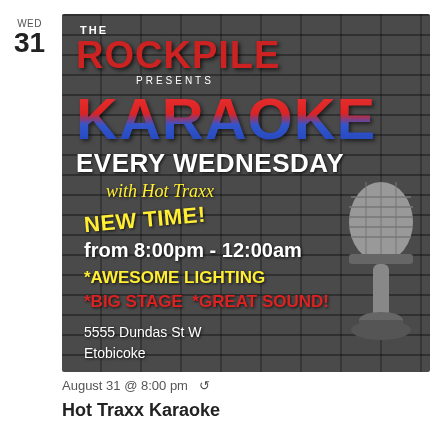WED
31
[Figure (illustration): The Rockpile Presents Karaoke Every Wednesday with Hot Traxx event poster on dark brick wall background with decorative microphone. Text includes: THE ROCKPILE PRESENTS, KARAOKE, EVERY WEDNESDAY, with Hot Traxx, NEW TIME!, from 8:00pm - 12:00am, *AWESOME LIGHTING, *BIG STAGE *GREAT SOUND!, 5555 Dundas St W, Etobicoke]
August 31 @ 8:00 pm
Hot Traxx Karaoke